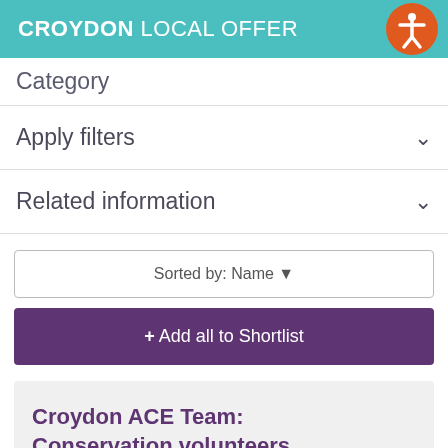CROYDON LOCAL OFFER
Category
Apply filters
Related information
Sorted by: Name
+ Add all to Shortlist
Croydon ACE Team: Conservation volunteers
Wednesdays and Thursdays
Active for Croydon Environment volunteers (ACE)